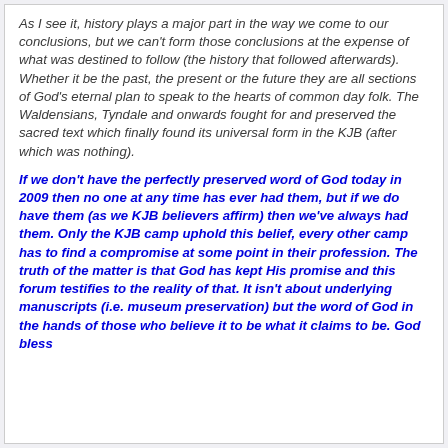As I see it, history plays a major part in the way we come to our conclusions, but we can't form those conclusions at the expense of what was destined to follow (the history that followed afterwards). Whether it be the past, the present or the future they are all sections of God's eternal plan to speak to the hearts of common day folk. The Waldensians, Tyndale and onwards fought for and preserved the sacred text which finally found its universal form in the KJB (after which was nothing).
If we don't have the perfectly preserved word of God today in 2009 then no one at any time has ever had them, but if we do have them (as we KJB believers affirm) then we've always had them. Only the KJB camp uphold this belief, every other camp has to find a compromise at some point in their profession. The truth of the matter is that God has kept His promise and this forum testifies to the reality of that. It isn't about underlying manuscripts (i.e. museum preservation) but the word of God in the hands of those who believe it to be what it claims to be. God bless